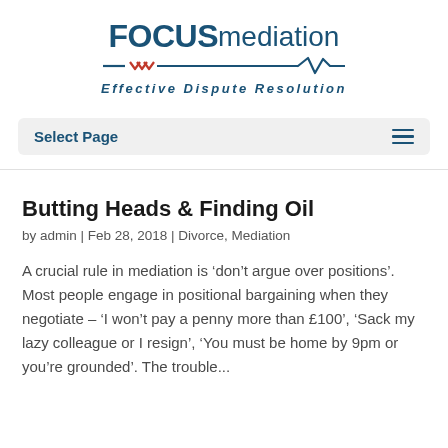[Figure (logo): Focus Mediation logo with teal/navy text 'FOCUS mediation' with decorative wave line underneath and tagline 'Effective Dispute Resolution']
Select Page
Butting Heads & Finding Oil
by admin | Feb 28, 2018 | Divorce, Mediation
A crucial rule in mediation is ‘don’t argue over positions’. Most people engage in positional bargaining when they negotiate – ‘I won’t pay a penny more than £100’, ‘Sack my lazy colleague or I resign’, ‘You must be home by 9pm or you’re grounded’. The trouble...